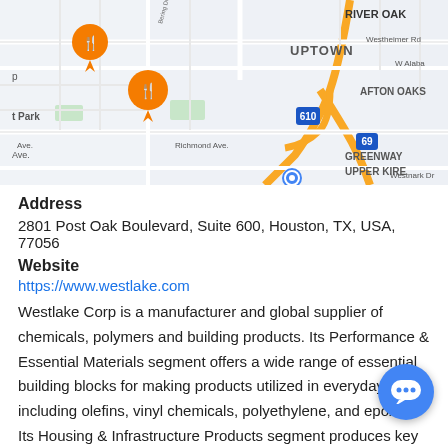[Figure (map): Google Maps screenshot showing Uptown Houston area with Afton Oaks, Greenway, Upper Kirby, River Oaks neighborhoods visible. Highway 610 and 69 shown. Orange location pins visible on left side.]
Address
2801 Post Oak Boulevard, Suite 600, Houston, TX, USA, 77056
Website
https://www.westlake.com
Westlake Corp is a manufacturer and global supplier of chemicals, polymers and building products. Its Performance & Essential Materials segment offers a wide range of essential building blocks for making products utilized in everyday living, including olefins, vinyl chemicals, polyethylene, and epoxies. Its Housing & Infrastructure Products segment produces key finished goods for building products, pipe & fittings, and global compounds businesses.
Executives